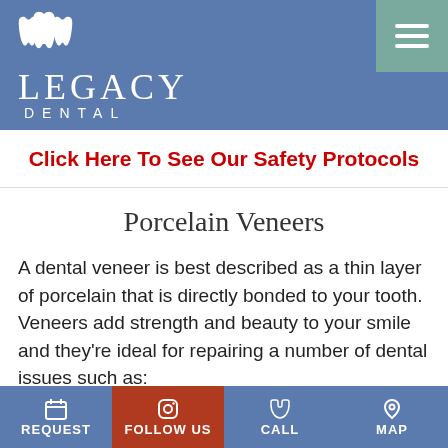[Figure (logo): Legacy Dental logo with two white tooth icons and the text LEGACY DENTAL on a blue background]
Click Here To See Our Safety Protocols
Porcelain Veneers
A dental veneer is best described as a thin layer of porcelain that is directly bonded to your tooth. Veneers add strength and beauty to your smile and they're ideal for repairing a number of dental issues such as:
Spacing in between teeth
Misaligned teeth
REQUEST   FOLLOW US   CALL   MAP